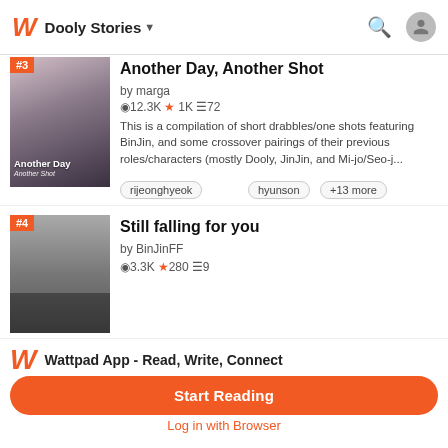Dooly Stories
Another Day, Another Shot
by marga
12.3K ★1K 72
This is a compilation of short drabbles/one shots featuring BinJin, and some crossover pairings of their previous roles/characters (mostly Dooly, JinJin, and Mi-jo/Seo-j...
rijeonghyeok
hyunson
+13 more
Still falling for you
by BinJinFF
3.3K ★280 9
Wattpad App - Read, Write, Connect
Start Reading
Log in with Browser